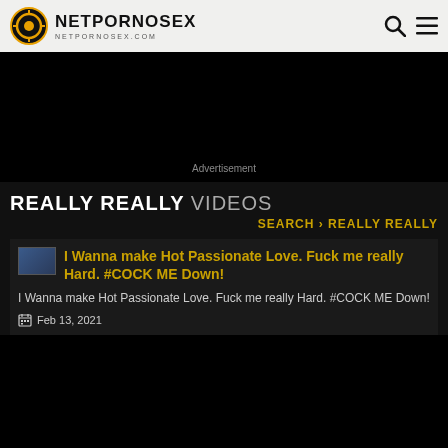NETPORNOSEX NETPORNOSEX.COM
[Figure (other): Advertisement black area]
Advertisement
REALLY REALLY VIDEOS
SEARCH › REALLY REALLY
[Figure (photo): Thumbnail image for video]
I Wanna make Hot Passionate Love. Fuck me really Hard. #COCK ME Down!
I Wanna make Hot Passionate Love. Fuck me really Hard. #COCK ME Down!
Feb 13, 2021